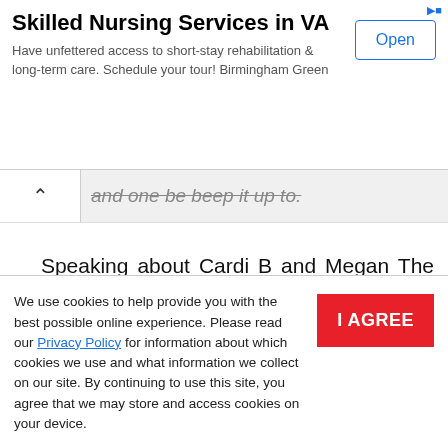[Figure (screenshot): Ad banner for Skilled Nursing Services in VA with Open button]
and one be beep it up to.
Speaking about Cardi B and Megan The Stallion's song, Cardi B is speaking out about what may be the most controversial aspect of her new sexually charged video 'Wap' featuring Megan Thee Stallion .
We use cookies to help provide you with the best possible online experience. Please read our Privacy Policy for information about which cookies we use and what information we collect on our site. By continuing to use this site, you agree that we may store and access cookies on your device.